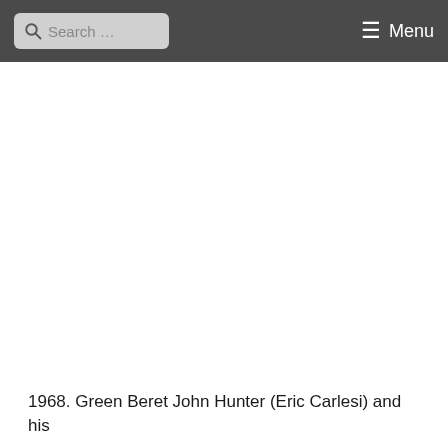Search ... Menu
1968. Green Beret John Hunter (Eric Carlesi) and his